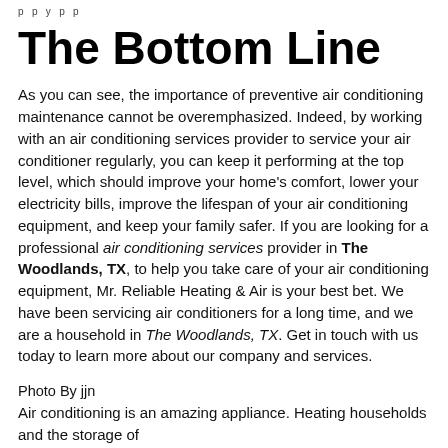p p y p p
The Bottom Line
As you can see, the importance of preventive air conditioning maintenance cannot be overemphasized. Indeed, by working with an air conditioning services provider to service your air conditioner regularly, you can keep it performing at the top level, which should improve your home's comfort, lower your electricity bills, improve the lifespan of your air conditioning equipment, and keep your family safer. If you are looking for a professional air conditioning services provider in The Woodlands, TX, to help you take care of your air conditioning equipment, Mr. Reliable Heating & Air is your best bet. We have been servicing air conditioners for a long time, and we are a household in The Woodlands, TX. Get in touch with us today to learn more about our company and services.
Photo By jjn
Air conditioning is an amazing appliance. Heating households and the storage of...